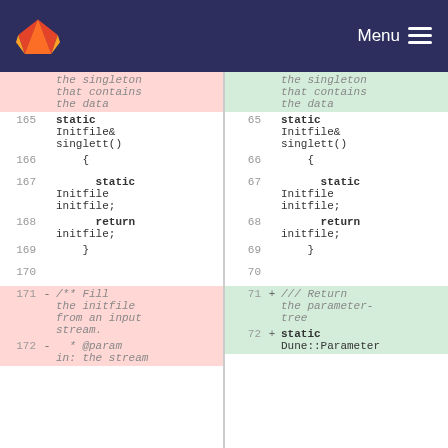[Figure (screenshot): GitLab navigation bar with logo and Menu button on dark navy background]
Code diff view showing two panels. Left panel (old): lines 165-172. Right panel (new): lines 65-72. Shows static Initfile& singlett() function with static Initfile initfile; return initfile; and diff changes for Fill the initfile comment vs Return the parameter-tree comment.